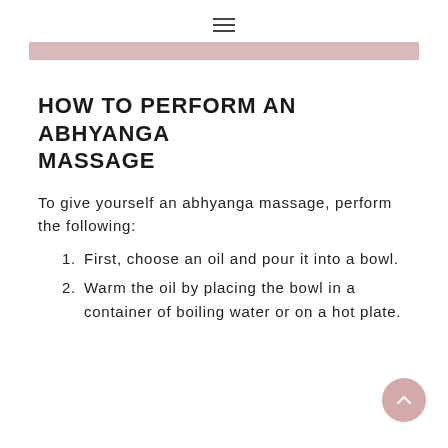≡
[Figure (illustration): Pink/mauve decorative bar or image strip at the top of the content area]
HOW TO PERFORM AN ABHYANGA MASSAGE
To give yourself an abhyanga massage, perform the following:
1. First, choose an oil and pour it into a bowl.
2. Warm the oil by placing the bowl in a container of boiling water or on a hot plate.